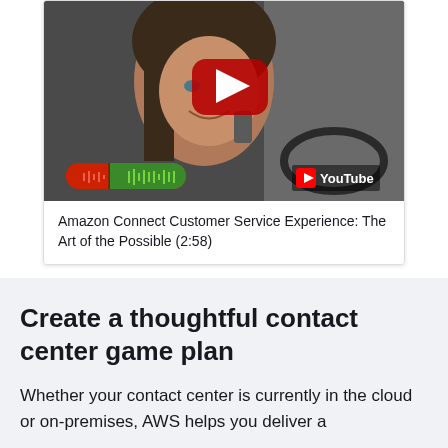[Figure (screenshot): YouTube video thumbnail showing a woman smiling in a car, with a red YouTube play button overlay and a voice/audio waveform indicator at the bottom left]
Amazon Connect Customer Service Experience: The Art of the Possible (2:58)
Create a thoughtful contact center game plan
Whether your contact center is currently in the cloud or on-premises, AWS helps you deliver a